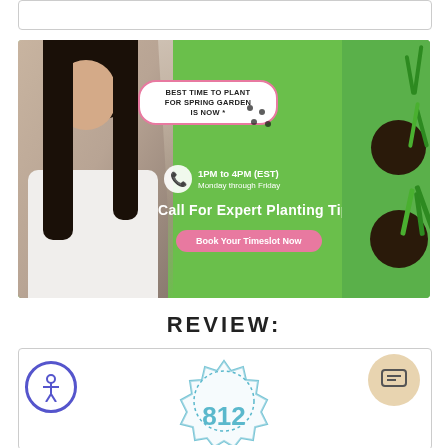[Figure (illustration): Top navigation/search bar area (partially visible at top)]
[Figure (infographic): Promotional banner with green background, woman with headset, speech bubble reading 'BEST TIME TO PLANT FOR SPRING GARDEN IS NOW *', phone icon with '1PM to 4PM (EST) Monday through Friday', text 'Call For Expert Planting Tips', and pink 'Book Your Timeslot Now' button. Plants in pots on right side.]
REVIEW:
[Figure (other): Bottom review section showing accessibility icon (circle with person), a blue badge with '812' partially visible, and a chat support button in the bottom right corner.]